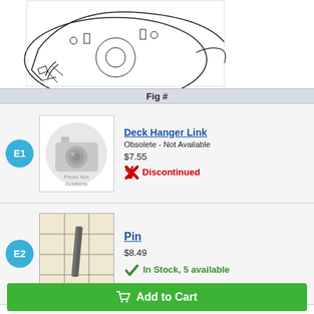[Figure (schematic): Partial engineering diagram of a deck hanger mechanism, showing line-art illustration of a mower deck component with mounting hardware]
| Fig # |
| --- |
E1
[Figure (photo): Photo Not Available placeholder image for Deck Hanger Link part]
Deck Hanger Link
Obsolete - Not Available
$7.55
Discontinued
E2
[Figure (photo): Photo of a small cylindrical metal pin part on a grid background]
Pin
$8.49
In Stock, 5 available
Add to Cart